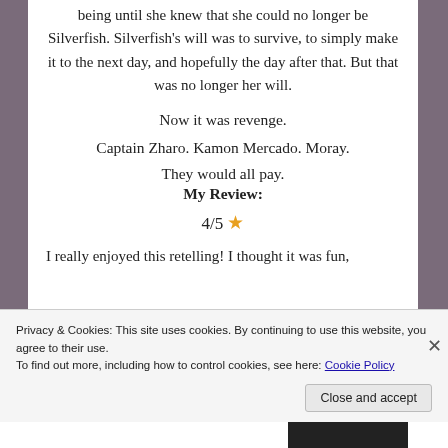being until she knew that she could no longer be Silverfish. Silverfish's will was to survive, to simply make it to the next day, and hopefully the day after that. But that was no longer her will.
Now it was revenge.
Captain Zharo. Kamon Mercado. Moray.
They would all pay.
My Review:
4/5 ★
I really enjoyed this retelling! I thought it was fun,
Privacy & Cookies: This site uses cookies. By continuing to use this website, you agree to their use.
To find out more, including how to control cookies, see here: Cookie Policy
Close and accept